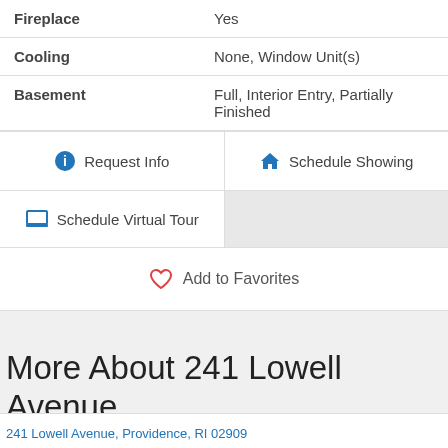| Feature | Value |
| --- | --- |
| Fireplace | Yes |
| Cooling | None, Window Unit(s) |
| Basement | Full, Interior Entry, Partially Finished |
Request Info
Schedule Showing
Schedule Virtual Tour
Add to Favorites
More About 241 Lowell Avenue, Providence, RI 02909
241 Lowell Avenue, Providence, RI 02909